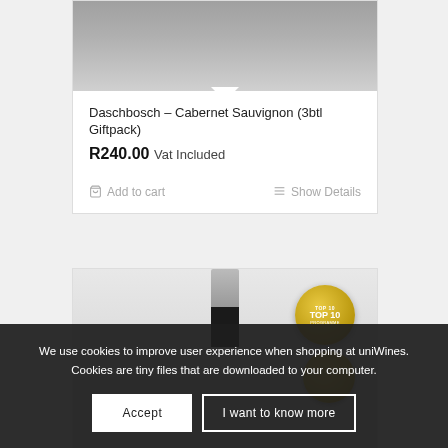[Figure (photo): Photo of Daschbosch Cabernet Sauvignon 3-bottle giftpack in wooden crate, viewed from above showing dark bottle tops]
Daschbosch – Cabernet Sauvignon (3btl Giftpack)
R240.00 Vat Included
Add to cart   Show Details
[Figure (photo): Wine bottle with silver capsule and gold award badges including Top 10 medallion]
We use cookies to improve user experience when shopping at uniWines. Cookies are tiny files that are downloaded to your computer.
Accept   I want to know more